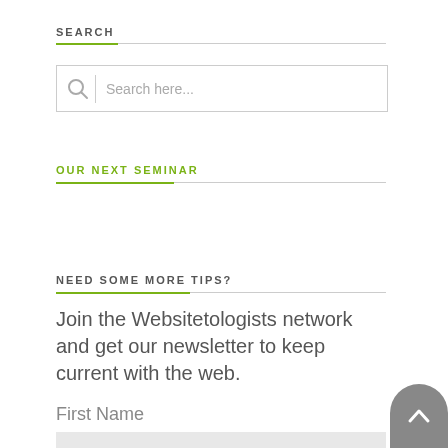SEARCH
[Figure (other): Search input box with magnifying glass icon and placeholder text 'Search here...']
OUR NEXT SEMINAR
NEED SOME MORE TIPS?
Join the Websitetologists network and get our newsletter to keep current with the web.
First Name